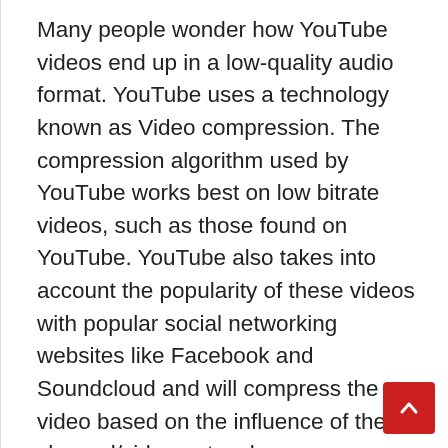Many people wonder how YouTube videos end up in a low-quality audio format. YouTube uses a technology known as Video compression. The compression algorithm used by YouTube works best on low bitrate videos, such as those found on YouTube. YouTube also takes into account the popularity of these videos with popular social networking websites like Facebook and Soundcloud and will compress the video based on the influence of the channel/video network.